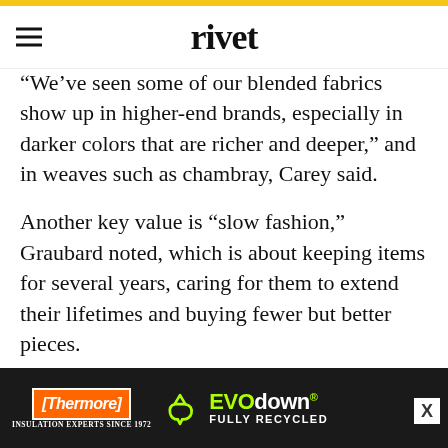rivet
“We’ve seen some of our blended fabrics show up in higher-end brands, especially in darker colors that are richer and deeper,” and in weaves such as chambray, Carey said.
Another key value is “slow fashion,” Graubard noted, which is about keeping items for several years, caring for them to extend their lifetimes and buying fewer but better pieces.
ADVERTISEMENT
“Since jeans are worn often, washed infrequently, ca…
[Figure (infographic): Thermore EVO down fully recycled advertisement banner with orange logo, green recycling icon, and neon green text on dark background]